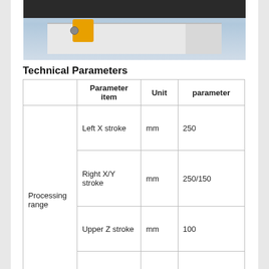[Figure (photo): Photo of a CNC or precision machining/processing device, showing a white machine body with a dark top surface and a yellow component on the left side, against a light blue-grey background.]
Technical Parameters
|  | Parameter item | Unit | parameter |
| --- | --- | --- | --- |
| Processing range | Left X stroke | mm | 250 |
| Processing range | Right X/Y stroke | mm | 250/150 |
| Processing range | Upper Z stroke | mm | 100 |
| Processing range | working desk | mm | 220*300 |